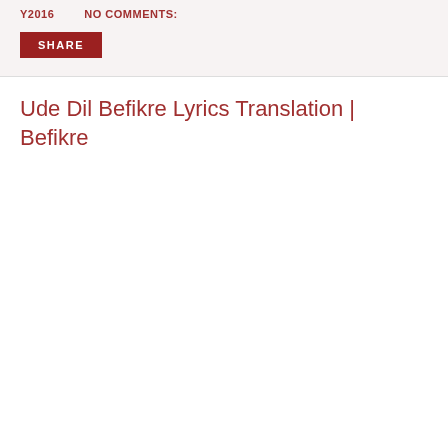Y2016      NO COMMENTS:
SHARE
Ude Dil Befikre Lyrics Translation | Befikre